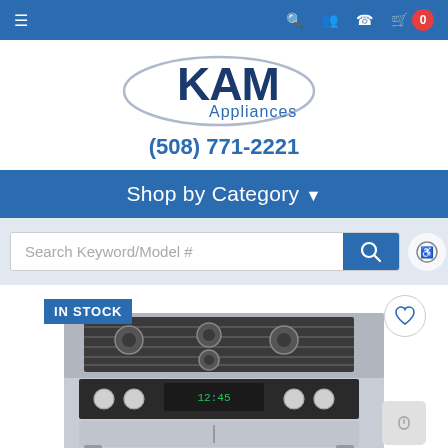Navigation bar with cart icon showing 0 items
[Figure (logo): KAM Appliances logo with oval swoosh graphic and blue text]
(508) 771-2221
Shop by Category ▾
Search Keyword/Model #
[Figure (photo): Stainless steel gas range with 6 burners and digital control panel, shown with IN STOCK badge]